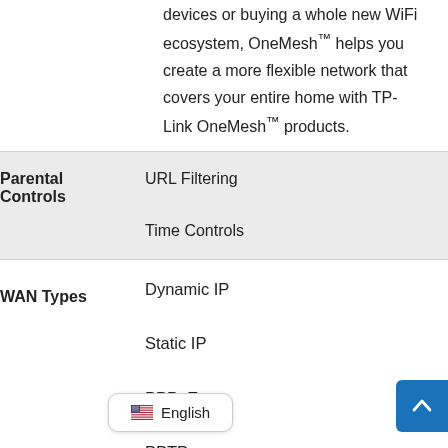devices or buying a whole new WiFi ecosystem, OneMesh™ helps you create a more flexible network that covers your entire home with TP-Link OneMesh™ products.
| Parental Controls | URL Filtering
Time Controls |
| WAN Types | Dynamic IP
Static IP
PPPoE
PPTP
L2TP |